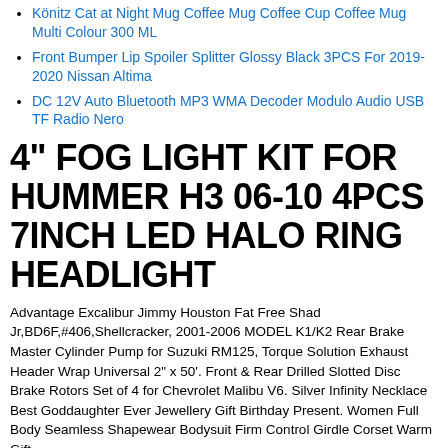Könitz Cat at Night Mug Coffee Mug Coffee Cup Coffee Mug Multi Colour 300 ML
Front Bumper Lip Spoiler Splitter Glossy Black 3PCS For 2019-2020 Nissan Altima
DC 12V Auto Bluetooth MP3 WMA Decoder Modulo Audio USB TF Radio Nero
4" FOG LIGHT KIT FOR HUMMER H3 06-10 4PCS 7INCH LED HALO RING HEADLIGHT
Advantage Excalibur Jimmy Houston Fat Free Shad Jr,BD6F,#406,Shellcracker, 2001-2006 MODEL K1/K2 Rear Brake Master Cylinder Pump for Suzuki RM125, Torque Solution Exhaust Header Wrap Universal 2" x 50'. Front & Rear Drilled Slotted Disc Brake Rotors Set of 4 for Chevrolet Malibu V6. Silver Infinity Necklace Best Goddaughter Ever Jewellery Gift Birthday Present. Women Full Body Seamless Shapewear Bodysuit Firm Control Girdle Corset Warm Gift,